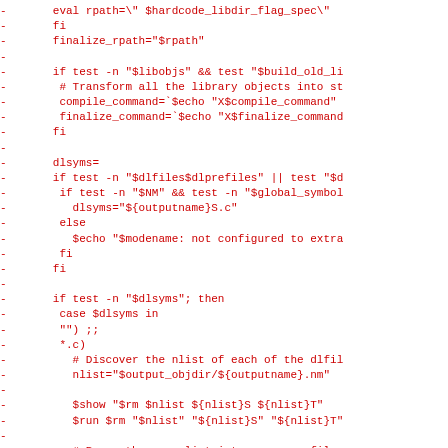- eval rpath=\" $hardcode_libdir_flag_spec\"
-       fi
-       finalize_rpath="$rpath"
-
-       if test -n "$libobjs" && test "$build_old_li
-        # Transform all the library objects into st
-        compile_command=`$echo "X$compile_command"
-        finalize_command=`$echo "X$finalize_command
-       fi
-
-       dlsyms=
-       if test -n "$dlfiles$dlprefiles" || test "$d
-        if test -n "$NM" && test -n "$global_symbol
-          dlsyms="${outputname}S.c"
-        else
-          $echo "$modename: not configured to extra
-        fi
-       fi
-
-       if test -n "$dlsyms"; then
-        case $dlsyms in
-        "") ;;
-        *.c)
-          # Discover the nlist of each of the dlfil
-          nlist="$output_objdir/${outputname}.nm"
-
-          $show "$rm $nlist ${nlist}S ${nlist}T"
-          $run $rm "$nlist" "${nlist}S" "${nlist}T"
-
-          # Parse the name list into a source file